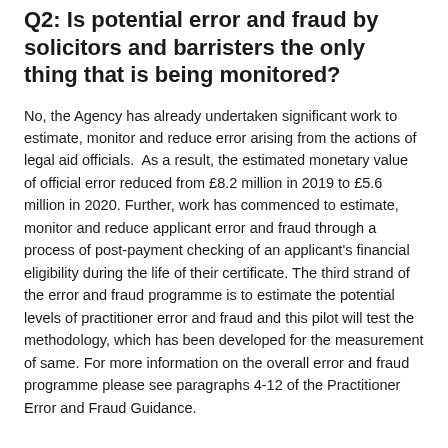Q2: Is potential error and fraud by solicitors and barristers the only thing that is being monitored?
No, the Agency has already undertaken significant work to estimate, monitor and reduce error arising from the actions of legal aid officials.  As a result, the estimated monetary value of official error reduced from £8.2 million in 2019 to £5.6 million in 2020. Further, work has commenced to estimate, monitor and reduce applicant error and fraud through a process of post-payment checking of an applicant's financial eligibility during the life of their certificate. The third strand of the error and fraud programme is to estimate the potential levels of practitioner error and fraud and this pilot will test the methodology, which has been developed for the measurement of same. For more information on the overall error and fraud programme please see paragraphs 4-12 of the Practitioner Error and Fraud Guidance.